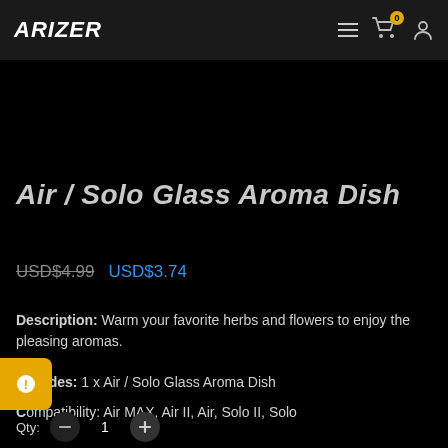ARIZER
Air / Solo Glass Aroma Dish
USD$4.99  USD$3.74
Description: Warm your favorite herbs and flowers to enjoy the pleasing aromas.
Includes: 1 x Air / Solo Glass Aroma Dish
Compatibility: Air MAX, Air II, Air, Solo II, Solo
Qty: 1